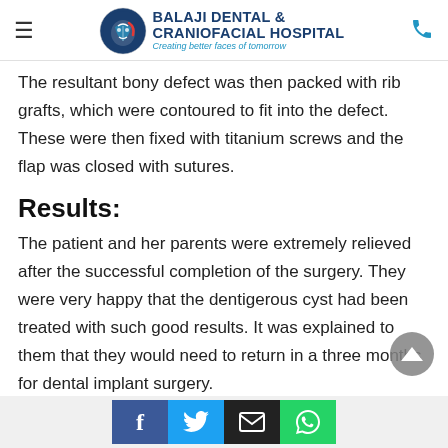Balaji Dental & Craniofacial Hospital — Creating better faces of tomorrow
The resultant bony defect was then packed with rib grafts, which were contoured to fit into the defect. These were then fixed with titanium screws and the flap was closed with sutures.
Results:
The patient and her parents were extremely relieved after the successful completion of the surgery. They were very happy that the dentigerous cyst had been treated with such good results. It was explained to them that they would need to return in a three months for dental implant surgery.
Facebook | Twitter | Email | WhatsApp